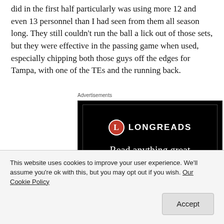did in the first half particularly was using more 12 and even 13 personnel than I had seen from them all season long. They still couldn't run the ball a lick out of those sets, but they were effective in the passing game when used, especially chipping both those guys off the edges for Tampa, with one of the TEs and the running back.
Advertisements
[Figure (other): Longreads advertisement with black background, red circle logo with 'L', brand name 'LONGREADS', and tagline 'Read anything great lately?']
This website uses cookies to improve your user experience. We'll assume you're ok with this, but you may opt out if you wish. Our Cookie Policy